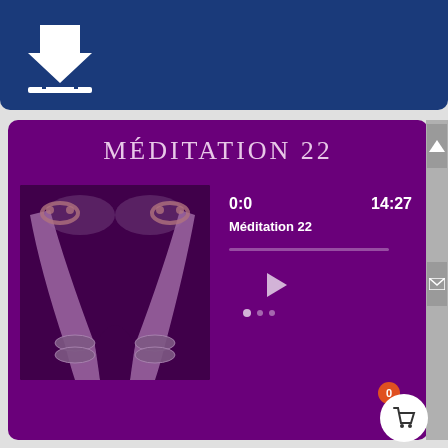[Figure (screenshot): Blue top banner with white download icon (arrow pointing down onto a platform with dots)]
MÉDITATION 22
[Figure (photo): Black and white photo of two human legs/feet touching at the ankles in a V-shape, decorated with ornate jeweled anklets, against a dark background, rendered with purple overlay]
0:0
Méditation 22
14:27
TELECHARGEZ LE FICHIER AUDIO EN CLIQUANT SUR L'ICONE !